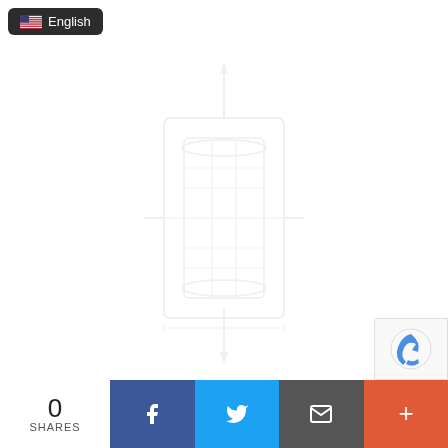[Figure (other): Language selector button showing US flag and 'English' text on dark background]
[Figure (engineering-diagram): Very faint/light engineering schematic of a Sanitary Tri-Clamped Duplex Filter Assembly showing front view with inlet/outlet arrows (top and bottom), filter housings, and clamp connections]
Dimension of Sanitary Tri-Clamped Duplex Filter Assemblies – DIN
[Figure (other): Social share bar with 0 SHARES count, Facebook, Twitter, Email, and More (+) buttons]